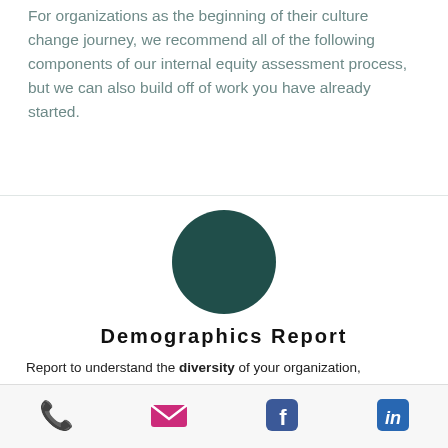For organizations as the beginning of their culture change journey, we recommend all of the following components of our internal equity assessment process, but we can also build off of work you have already started.
[Figure (illustration): Dark teal filled circle icon]
Demographics Report
Report to understand the diversity of your organization, considering race, gender, ability, religion, orientation, and language. We help you discover trends of these demographics across department, location, and hierarchy across time.
[Figure (infographic): Footer bar with phone icon (green), email envelope icon (pink/magenta), Facebook icon (dark blue), LinkedIn icon (blue)]